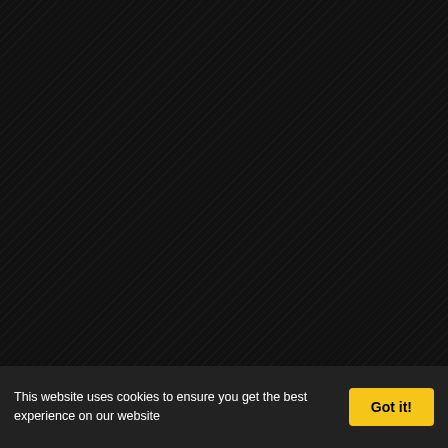GYPSY - Las Vegas, NV song and Stand Back for
[Figure (screenshot): YouTube embedded video player showing a Fleetwood Mac live performance. Channel avatar shown at top with channel name 'Fleetwood' (partially cropped). Dark concert footage with performer visible. 'Watch on YouTube' bar at bottom.]
This website uses cookies to ensure you get the best experience on our website
Got it!